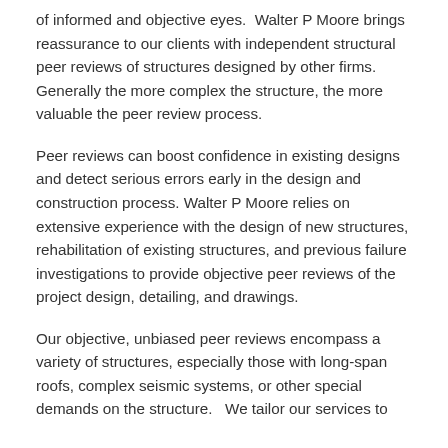of informed and objective eyes.  Walter P Moore brings reassurance to our clients with independent structural peer reviews of structures designed by other firms.   Generally the more complex the structure, the more valuable the peer review process.
Peer reviews can boost confidence in existing designs and detect serious errors early in the design and construction process. Walter P Moore relies on extensive experience with the design of new structures, rehabilitation of existing structures, and previous failure investigations to provide objective peer reviews of the project design, detailing, and drawings.
Our objective, unbiased peer reviews encompass a variety of structures, especially those with long-span roofs, complex seismic systems, or other special demands on the structure.   We tailor our services to